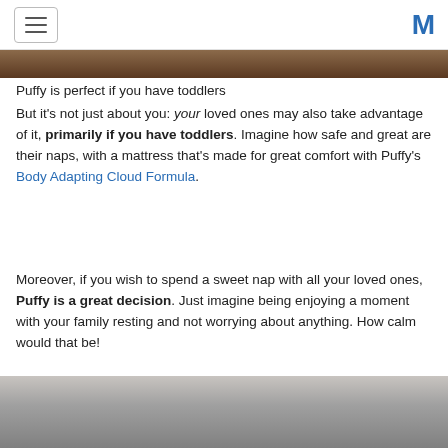[hamburger menu icon] [M logo]
[Figure (photo): Top portion of a photo, cropped — appears to be a person or scene, only a narrow strip visible at the top of content area.]
Puffy is perfect if you have toddlers
But it's not just about you: your loved ones may also take advantage of it, primarily if you have toddlers. Imagine how safe and great are their naps, with a mattress that's made for great comfort with Puffy's Body Adapting Cloud Formula.
Moreover, if you wish to spend a sweet nap with all your loved ones, Puffy is a great decision. Just imagine being enjoying a moment with your family resting and not worrying about anything. How calm would that be!
[Figure (photo): Bottom portion of a photo showing a person, partially cropped — visible at the bottom of the page.]